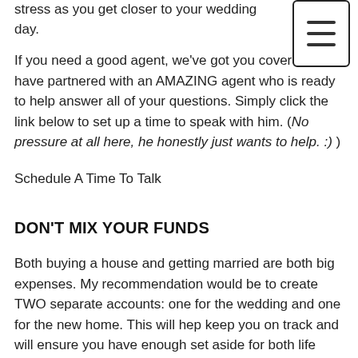stress as you get closer to your wedding day.
If you need a good agent, we've got you covered! We have partnered with an AMAZING agent who is ready to help answer all of your questions. Simply click the link below to set up a time to speak with him. (No pressure at all here, he honestly just wants to help. :) )
Schedule A Time To Talk
DON'T MIX YOUR FUNDS
Both buying a house and getting married are both big expenses. My recommendation would be to create TWO separate accounts: one for the wedding and one for the new home. This will hep keep you on track and will ensure you have enough set aside for both life events.
COMMUNICATE